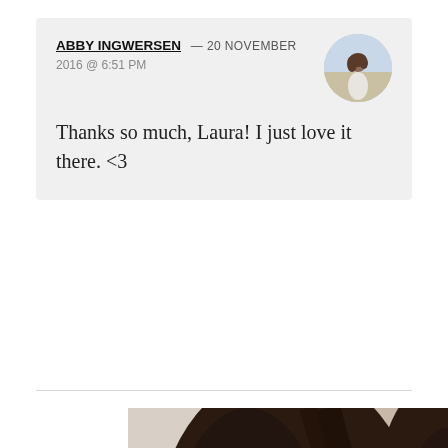ABBY INGWERSEN — 20 NOVEMBER 2016 @ 6:51 PM
Thanks so much, Laura! I just love it there. <3
[Figure (photo): Circular avatar photo of a woman in white dress in an outdoor/field setting]
[Figure (photo): Close-up selfie of a young woman with dark brown hair, red lipstick, and a chest tattoo]